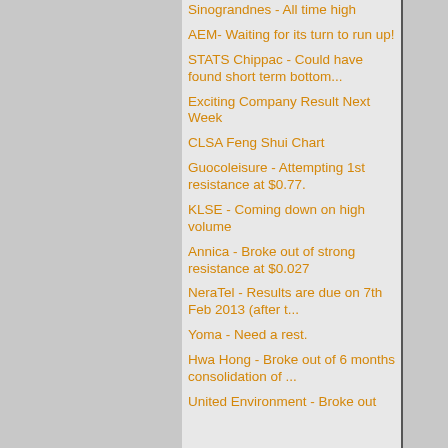Sinograndnes - All time high
AEM- Waiting for its turn to run up!
STATS Chippac - Could have found short term bottom...
Exciting Company Result Next Week
CLSA Feng Shui Chart
Guocoleisure - Attempting 1st resistance at $0.77.
KLSE - Coming down on high volume
Annica - Broke out of strong resistance at $0.027
NeraTel - Results are due on 7th Feb 2013 (after t...
Yoma - Need a rest.
Hwa Hong - Broke out of 6 months consolidation of ...
United Environment - Broke out